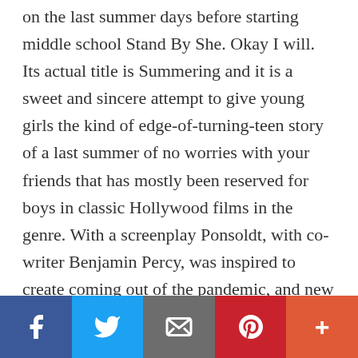on the last summer days before starting middle school Stand By She. Okay I will. Its actual title is Summering and it is a sweet and sincere attempt to give young girls the kind of edge-of-turning-teen story of a last summer of no worries with your friends that has mostly been reserved for boys in classic Hollywood films in the genre. With a screenplay Ponsoldt, with co-writer Benjamin Percy, was inspired to create coming out of the pandemic, and new questions about life presented to our youngest members of the planet, they land on a somewhat dark situation. Four carefree young girls come face to face with death, and some
[Figure (infographic): Social sharing bar at bottom with five buttons: Facebook (blue), Twitter (light blue), Email (gray), Pinterest (red), More/Plus (orange-red)]